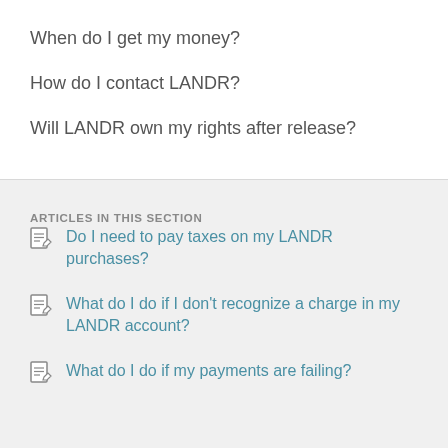When do I get my money?
How do I contact LANDR?
Will LANDR own my rights after release?
ARTICLES IN THIS SECTION
Do I need to pay taxes on my LANDR purchases?
What do I do if I don't recognize a charge in my LANDR account?
What do I do if my payments are failing?